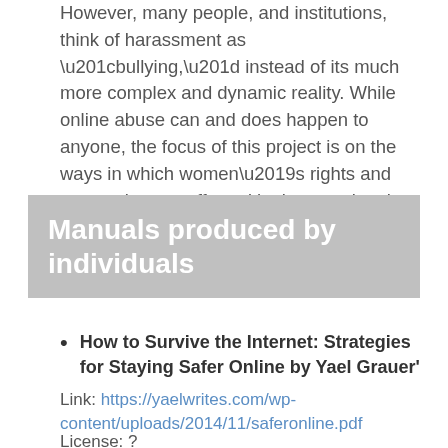However, many people, and institutions, think of harassment as “bullying,” instead of its much more complex and dynamic reality. While online abuse can and does happen to anyone, the focus of this project is on the ways in which women’s rights and expression are affected by intersectional harassment related to their gender, class, race, sexuality and more.
Manuals produced by individuals
How to Survive the Internet: Strategies for Staying Safer Online by Yael Grauer’
Link: https://yaelwrites.com/wp-content/uploads/2014/11/saferonline.pdf
License: ?